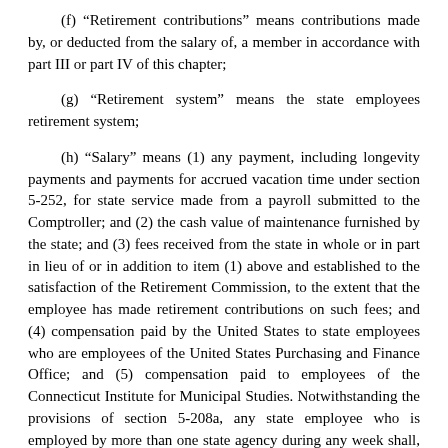(f) “Retirement contributions” means contributions made by, or deducted from the salary of, a member in accordance with part III or part IV of this chapter;
(g) “Retirement system” means the state employees retirement system;
(h) “Salary” means (1) any payment, including longevity payments and payments for accrued vacation time under section 5-252, for state service made from a payroll submitted to the Comptroller; and (2) the cash value of maintenance furnished by the state; and (3) fees received from the state in whole or in part in lieu of or in addition to item (1) above and established to the satisfaction of the Retirement Commission, to the extent that the employee has made retirement contributions on such fees; and (4) compensation paid by the United States to state employees who are employees of the United States Purchasing and Finance Office; and (5) compensation paid to employees of the Connecticut Institute for Municipal Studies. Notwithstanding the provisions of section 5-208a, any state employee who is employed by more than one state agency during any week shall, for compensation earned on and after January 1, 1983, have all such compensation recognized for all purposes of the retirement